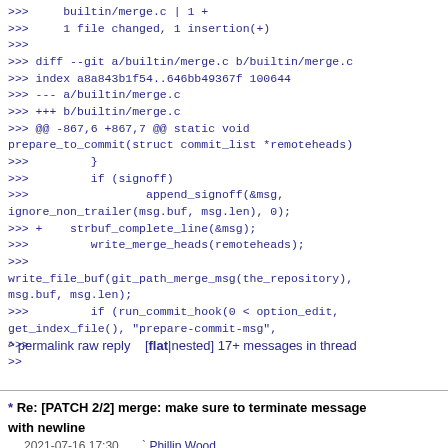>>>     builtin/merge.c | 1 +
>>>     1 file changed, 1 insertion(+)
>>>
>>> diff --git a/builtin/merge.c b/builtin/merge.c
>>> index a8a843b1f54..646bb49367f 100644
>>> --- a/builtin/merge.c
>>> +++ b/builtin/merge.c
>>> @@ -867,6 +867,7 @@ static void
prepare_to_commit(struct commit_list *remoteheads)
>>>         }
>>>         if (signoff)
>>>                 append_signoff(&msg,
ignore_non_trailer(msg.buf, msg.len), 0);
>>> +    strbuf_complete_line(&msg);
>>>         write_merge_heads(remoteheads);
>>>
write_file_buf(git_path_merge_msg(the_repository),
msg.buf, msg.len);
>>>         if (run_commit_hook(0 < option_edit,
get_index_file(), "prepare-commit-msg",
>>>
>>
^ permalink raw reply   [flat|nested] 17+ messages in thread
* Re: [PATCH 2/2] merge: make sure to terminate message with newline
  2021-07-16 17:30      ` Phillip Wood
@ 2021-07-16 18:33      ` Jeff King